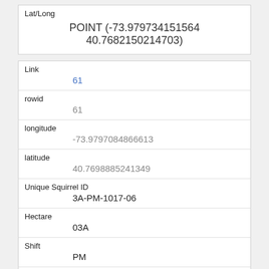| Lat/Long |
| --- |
| POINT (-73.979734151564 40.7682150214703) |
| Link | 61 |
| rowid | 61 |
| longitude | -73.9797084866613 |
| latitude | 40.7698885241349 |
| Unique Squirrel ID | 3A-PM-1017-06 |
| Hectare | 03A |
| Shift | PM |
| Date | 10172018 |